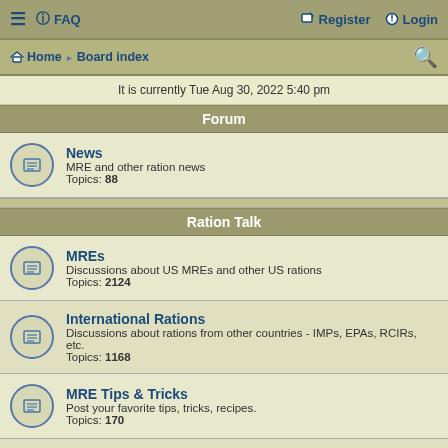≡ FAQ | Register Login
Home · Board index
It is currently Tue Aug 30, 2022 5:40 pm
Forum
News
MRE and other ration news
Topics: 88
Ration Talk
MREs
Discussions about US MREs and other US rations
Topics: 2124
International Rations
Discussions about rations from other countries - IMPs, EPAs, RCIRs, etc.
Topics: 1168
MRE Tips & Tricks
Post your favorite tips, tricks, recipes.
Topics: 170
Buy/Sell/Trade
Buying, selling, and trading rations
Topics: 2694